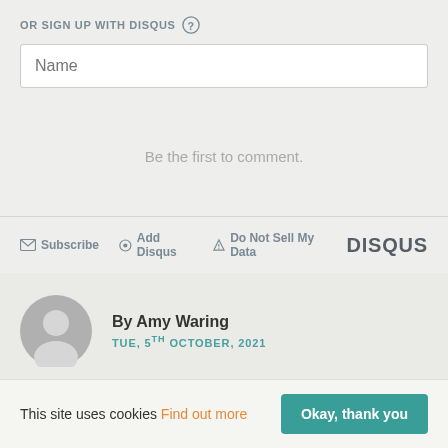OR SIGN UP WITH DISQUS
Name
Be the first to comment.
Subscribe  Add Disqus  Do Not Sell My Data  DISQUS
By Amy Waring
TUE, 5TH OCTOBER, 2021
This site uses cookies Find out more Okay, thank you